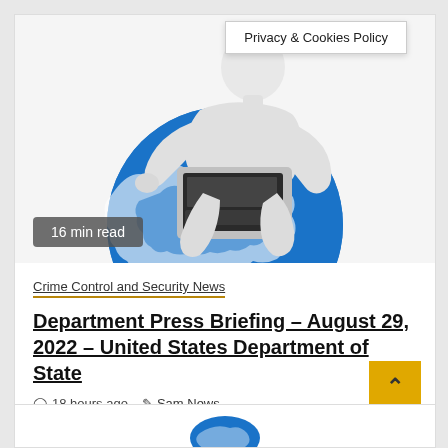Privacy & Cookies Policy
[Figure (illustration): 3D white figure sitting on a globe holding a laptop, representing internet/global news browsing]
16 min read
Crime Control and Security News
Department Press Briefing – August 29, 2022 – United States Department of State
18 hours ago  Sam News